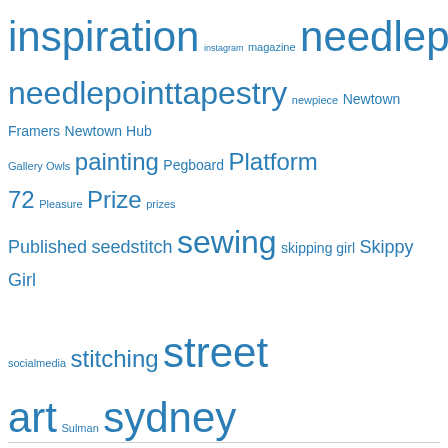inspiration instagram magazine needlepoint needlepointtapestry newpiece Newtown Framers Newtown Hub Gallery Owls painting Pegboard Platform 72 Pleasure Prize prizes Published seedstitch sewing skipping girl Skippy Girl socialmedia stitching street art Sulman sydney Sydney Art Sydneycraftweek Sydney Fringe Festival Tapest tapestry Tapestry Girl tapestryGirl Tap Gallery Textile Art textileart Textile Fibre Forum textiles urban urbanart Urban Blend Verona Waverely Art Prize waverleyartprize win winner wins workshop xstitch ziggyswinebar